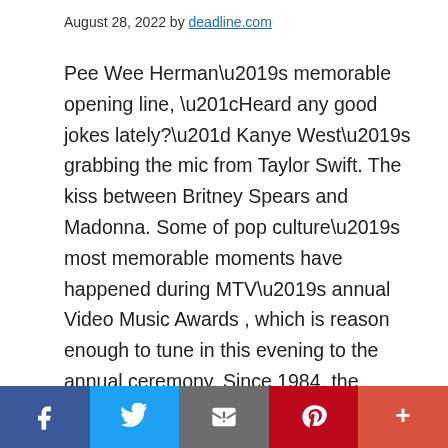August 28, 2022 by deadline.com
Pee Wee Herman’s memorable opening line, “Heard any good jokes lately?” Kanye West’s grabbing the mic from Taylor Swift. The kiss between Britney Spears and Madonna. Some of pop culture’s most memorable moments have happened during MTV’s annual Video Music Awards , which is reason enough to tune in this evening to the annual ceremony. Since 1984, the VMA’s have been an annual must-see. And although music videos aren’t as big a part of the culture as they were back then, the show is still a major spotlight on the best in mainstream music. Tonight’s show will emanate from the
[Figure (other): Social sharing bar with Facebook, Twitter, Email, Pinterest, and More buttons]